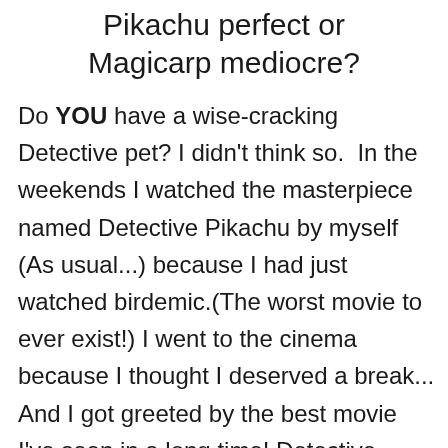Pikachu perfect or Magicarp mediocre?
Do YOU have a wise-cracking Detective pet? I didn't think so.  In the weekends I watched the masterpiece named Detective Pikachu by myself (As usual...) because I had just watched birdemic.(The worst movie to ever exist!) I went to the cinema because I thought I deserved a break... And I got greeted by the best movie I've seen in a long time! Detective Pikachu (Known as [censored]